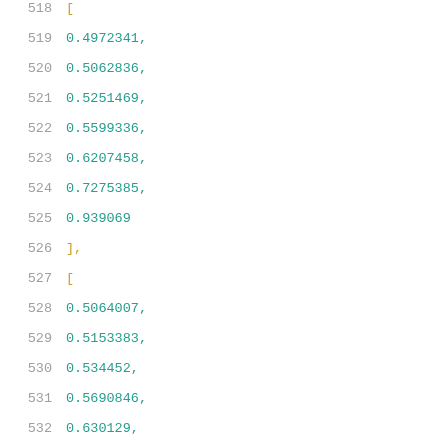518  [
519    0.4972341,
520    0.5062836,
521    0.5251469,
522    0.5599336,
523    0.6207458,
524    0.7275385,
525    0.939069
526  ],
527  [
528    0.5064007,
529    0.5153383,
530    0.534452,
531    0.5690846,
532    0.630129,
533    0.7375649,
534    0.9484039
535  ],
536  [
537    0.5303475,
538    0.5394782,
539    0.5578576,